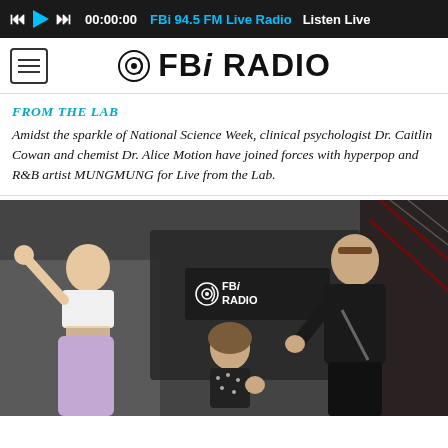00:00:00  FBi 94.5 FM Live Radio  Listen Live
[Figure (logo): FBi Radio logo with hamburger menu icon on the left]
FROM THE LAB
Amidst the sparkle of National Science Week, clinical psychologist Dr. Caitlin Cowan and chemist Dr. Alice Motion have joined forces with hyperpop and R&B artist MUNGMUNG for Live from the Lab.
[Figure (photo): Three people posing in front of an FBi Radio sign. Left: person in white crop top and lavender pants waving. Center: person in black patterned shirt crouching. Right: person in black outfit standing.]